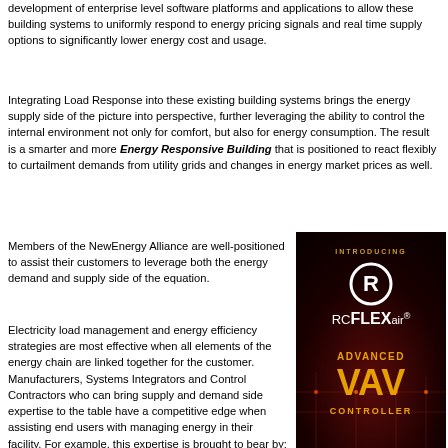development of enterprise level software platforms and applications to allow these building systems to uniformly respond to energy pricing signals and real time supply options to significantly lower energy cost and usage.
Integrating Load Response into these existing building systems brings the energy supply side of the picture into perspective, further leveraging the ability to control the internal environment not only for comfort, but also for energy consumption. The result is a smarter and more Energy Responsive Building that is positioned to react flexibly to curtailment demands from utility grids and changes in energy market prices as well.
Members of the NewEnergy Alliance are well-positioned to assist their customers to leverage both the energy demand and supply side of the equation.
Electricity load management and energy efficiency strategies are most effective when all elements of the energy chain are linked together for the customer. Manufacturers, Systems Integrators and Control Contractors who can bring supply and demand side expertise to the table have a competitive edge when assisting end users with managing energy in their facility. For example, this expertise is brought to bear by: 1) Shaping the electricity load via control system applications, and optimizing load management strategies; 2) Reducing
[Figure (illustration): Advertisement for RCFLEXair Advanced VAV Controller. Dark background with orange circuit-like patterns. Shows the RCFLEXair logo with R in a circle, text INTRODUCING at top, RCFLEXair in white/gold text, ADVANCED VAV CONTROLLER in orange bold text at bottom.]